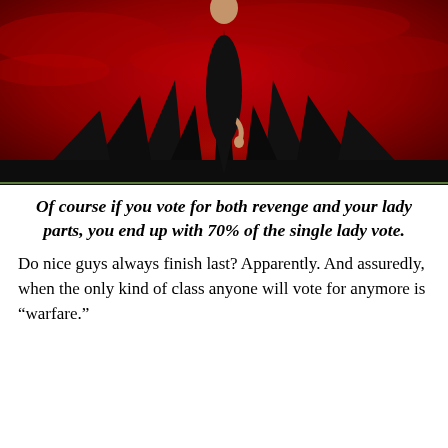[Figure (illustration): A dramatic image of a woman in a black dress standing on dark spikes against a vivid red sky background.]
Of course if you vote for both revenge and your lady parts, you end up with 70% of the single lady vote.
Do nice guys always finish last? Apparently. And assuredly, when the only kind of class anyone will vote for anymore is “warfare.”